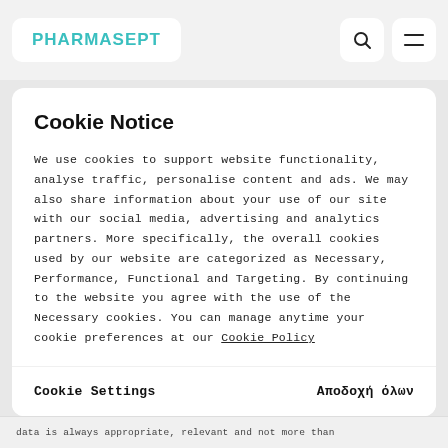PHARMASEPT
Cookie Notice
We use cookies to support website functionality, analyse traffic, personalise content and ads. We may also share information about your use of our site with our social media, advertising and analytics partners. More specifically, the overall cookies used by our website are categorized as Necessary, Performance, Functional and Targeting. By continuing to the website you agree with the use of the Necessary cookies. You can manage anytime your cookie preferences at our Cookie Policy
Cookie Settings
Αποδοχή όλων
data is always appropriate, relevant and not more than